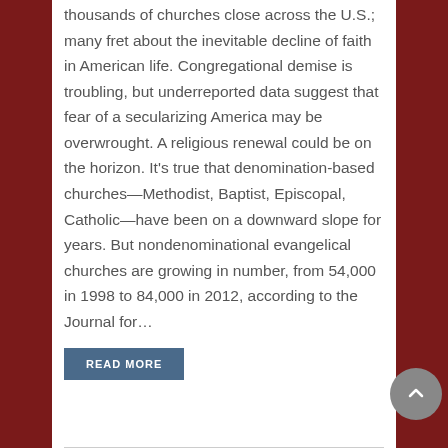thousands of churches close across the U.S.; many fret about the inevitable decline of faith in American life. Congregational demise is troubling, but underreported data suggest that fear of a secularizing America may be overwrought. A religious renewal could be on the horizon. It's true that denomination-based churches—Methodist, Baptist, Episcopal, Catholic—have been on a downward slope for years. But nondenominational evangelical churches are growing in number, from 54,000 in 1998 to 84,000 in 2012, according to the Journal for...
READ MORE